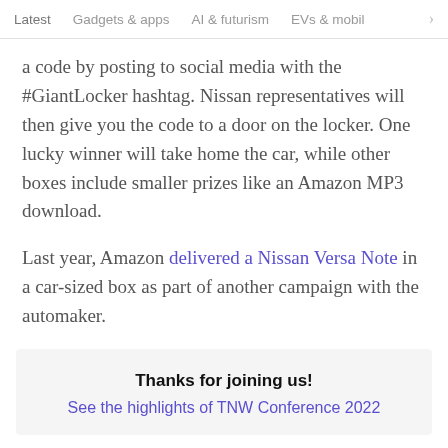Latest   Gadgets & apps   AI & futurism   EVs & mobil  >
a code by posting to social media with the #GiantLocker hashtag. Nissan representatives will then give you the code to a door on the locker. One lucky winner will take home the car, while other boxes include smaller prizes like an Amazon MP3 download.
Last year, Amazon delivered a Nissan Versa Note in a car-sized box as part of another campaign with the automaker.
Thanks for joining us!
See the highlights of TNW Conference 2022